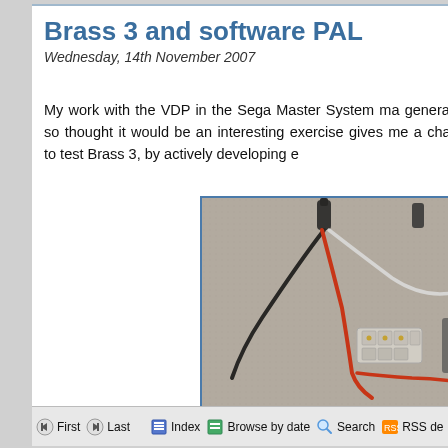Brass 3 and software PAL
Wednesday, 14th November 2007
My work with the VDP in the Sega Master System ma generated, so thought it would be an interesting exercise gives me a chance to test Brass 3, by actively developing e
[Figure (photo): Close-up photo of electronic components/wires (red, black, white wires with connectors) on a grey carpet surface, with a blue border]
First  Last  Index  Browse by date  Search  RSS de